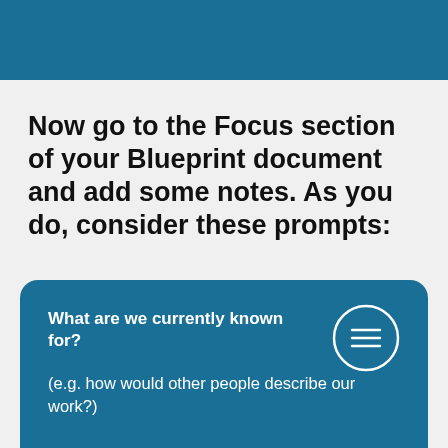Now go to the Focus section of your Blueprint document and add some notes. As you do, consider these prompts:
What are we currently known for?
(e.g. how would other people describe our work?)